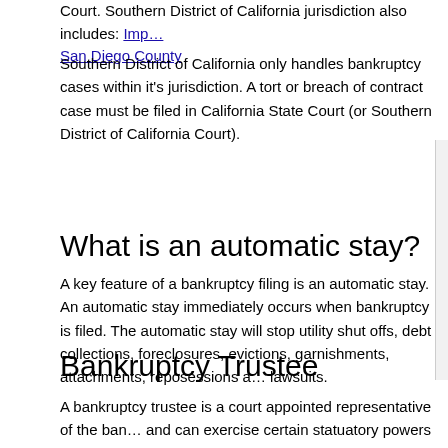Court. Southern District of California jurisdiction also includes: Imperial San Diego County
Southern District of California only handles bankruptcy cases within it's jurisdiction. A tort or breach of contract case must be filed in California State Court (or Southern District of California Court).
What is an automatic stay?
A key feature of a bankruptcy filing is an automatic stay. An automatic stay immediately occurs when bankruptcy is filed. The automatic stay will stop utility shut offs, debt collections, foreclosures, evictions, garnishments, attachments, reposessions a... lawsuits.
Bankruptcy Trustee
A bankruptcy trustee is a court appointed representative of the ban... and can exercise certain statuatory powers for the benefit of the un... debtors. A trustee can be a private individual or corporation in Cha... 13 cases, in addition some Chapter 11 cases can also have a ban... For Chapter 7 cases, the trustee is responsible for liquidating and c...